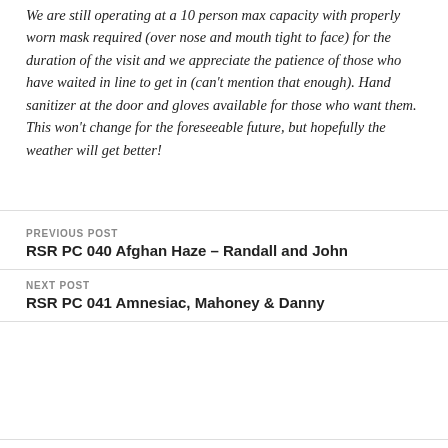We are still operating at a 10 person max capacity with properly worn mask required (over nose and mouth tight to face) for the duration of the visit and we appreciate the patience of those who have waited in line to get in (can't mention that enough).  Hand sanitizer at the door and gloves available for those who want them. This won't change for the foreseeable future, but hopefully the weather will get better!
PREVIOUS POST
RSR PC 040 Afghan Haze – Randall and John
NEXT POST
RSR PC 041 Amnesiac, Mahoney & Danny